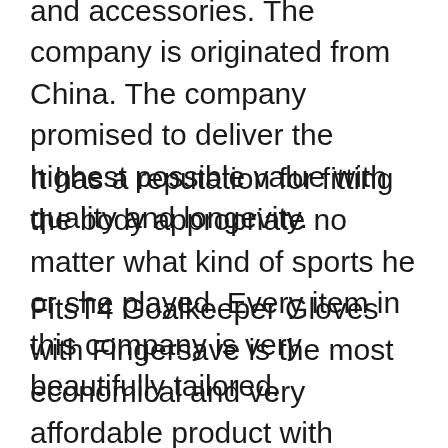and accessories. The company is originated from China. The company promised to deliver the highest possible value with quality and longevity.
It has a reputation for fitting the body appropriate no matter what kind of sports he or she played. Every item in this company is very beautifully tailored.
FitsT4 Goalkeeper Gloves with Fingersave is the most economical and very affordable product with plenty of features. The glove has anti-slip wear-resistant 3MM German Latex, and under that, there is 3MM foam in the base of the glove.
This is very much comfortable and gives